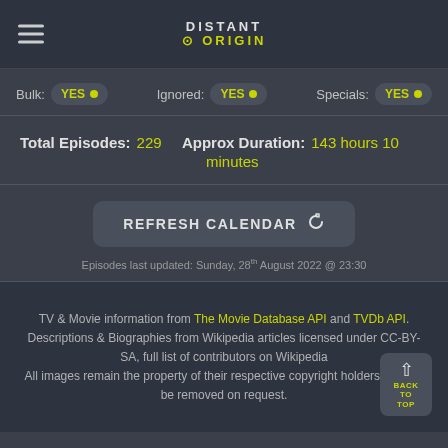DISTANT ORIGIN
Bulk: YES  Ignored: YES  Specials: YES
Total Episodes: 229   Approx Duration: 143 hours 10 minutes
REFRESH CALENDAR
Episodes last updated: Sunday, 28th August 2022 @ 23:30
TV & Movie information from The Movie Database API and TVDb API. Descriptions & Biographies from Wikipedia articles licensed under CC-BY-SA, full list of contributors on Wikipedia. All images remain the property of their respective copyright holders and will be removed on request.